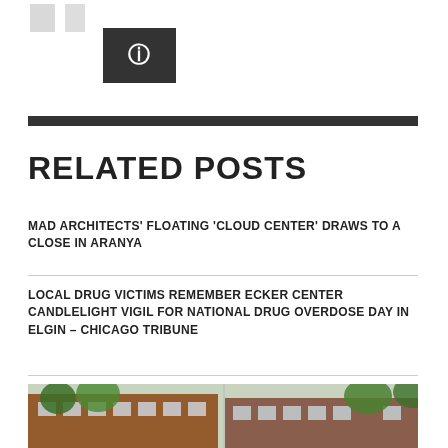[Figure (illustration): Partial view of gray arrow/chevron icons at top left, and a dark square icon with a white symbol in the center-upper area]
RELATED POSTS
MAD ARCHITECTS' FLOATING 'CLOUD CENTER' DRAWS TO A CLOSE IN ARANYA
LOCAL DRUG VICTIMS REMEMBER ECKER CENTER CANDLELIGHT VIGIL FOR NATIONAL DRUG OVERDOSE DAY IN ELGIN – CHICAGO TRIBUNE
[Figure (photo): Bottom portion of a photo showing a brick building with trees, split into two panels]